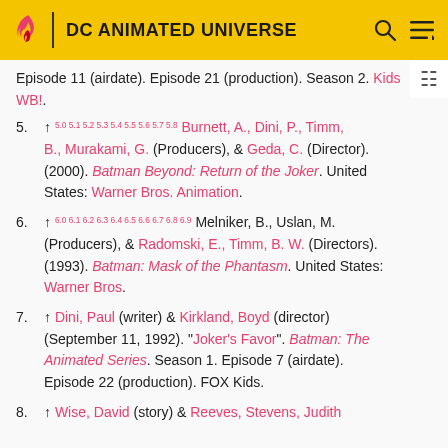DC ANIMATED UNIVERSE
Episode 11 (airdate). Episode 21 (production). Season 2. Kids WB!.
5. ↑ 5.0 5.1 5.2 5.3 5.4 5.5 5.6 5.7 5.8 Burnett, A., Dini, P., Timm, B., Murakami, G. (Producers), & Geda, C. (Director). (2000). Batman Beyond: Return of the Joker. United States: Warner Bros. Animation.
6. ↑ 6.0 6.1 6.2 6.3 6.4 6.5 6.6 6.7 6.8 6.9 Melniker, B., Uslan, M. (Producers), & Radomski, E., Timm, B. W. (Directors). (1993). Batman: Mask of the Phantasm. United States: Warner Bros.
7. ↑ Dini, Paul (writer) & Kirkland, Boyd (director) (September 11, 1992). "Joker's Favor". Batman: The Animated Series. Season 1. Episode 7 (airdate). Episode 22 (production). FOX Kids.
8. ↑ Wise, David (story) & Reeves, Stevens, Judith